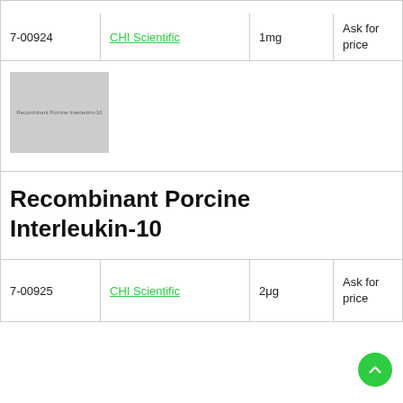| ID | Vendor | Qty | Price |
| --- | --- | --- | --- |
| 7-00924 | CHI Scientific | 1mg | Ask for price |
[Figure (photo): Placeholder product image for Recombinant Porcine Interleukin-10, grey square with small text label]
Recombinant Porcine Interleukin-10
| ID | Vendor | Qty | Price |
| --- | --- | --- | --- |
| 7-00925 | CHI Scientific | 2μg | Ask for price |